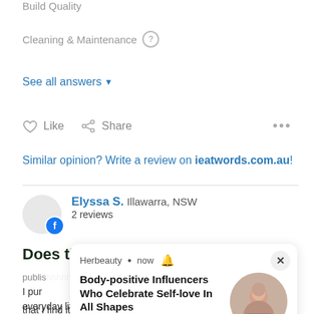Build Quality
Cleaning & Maintenance ?
See all answers ▾
♥ Like  ⬡ Share  •••
Similar opinion? Write a review on ieatwords.com.au!
Elyssa S. Illawarra, NSW
2 reviews
Does the job
published ...
I pur... altho... lot of... that I find it super easy to manoeuvre, it is very compact
[Figure (screenshot): Herbeauty ad overlay card showing 'Body-positive Influencers Who Celebrate Self-love In All Shapes' with 839 likes and a circular image of a woman, with a close (X) button]